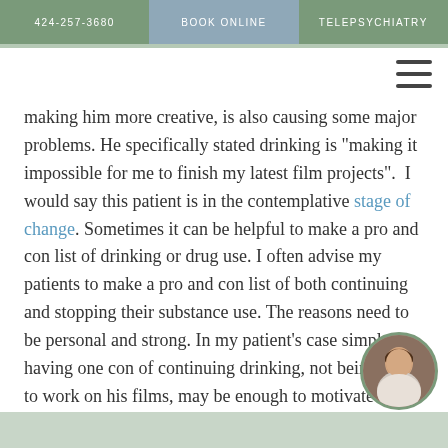424-257-3680 | BOOK ONLINE | TELEPSYCHIATRY
making him more creative, is also causing some major problems. He specifically stated drinking is "making it impossible for me to finish my latest film projects".  I would say this patient is in the contemplative stage of change. Sometimes it can be helpful to make a pro and con list of drinking or drug use. I often advise my patients to make a pro and con list of both continuing and stopping their substance use. The reasons need to be personal and strong. In my patient's case simply having one con of continuing drinking, not being able to work on his films, may be enough to motivate him to try to quit and to sober.